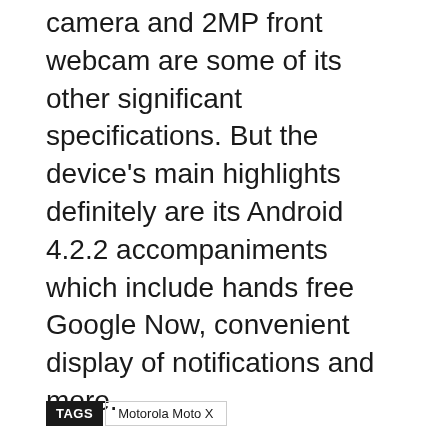camera and 2MP front webcam are some of its other significant specifications. But the device's main highlights definitely are its Android 4.2.2 accompaniments which include hands free Google Now, convenient display of notifications and more.
Apart from the US, the Motorola Moto X will also be sold in Latin America and Canada, but there's still no word about its arrival in regions other than these.
TAGS  Motorola Moto X